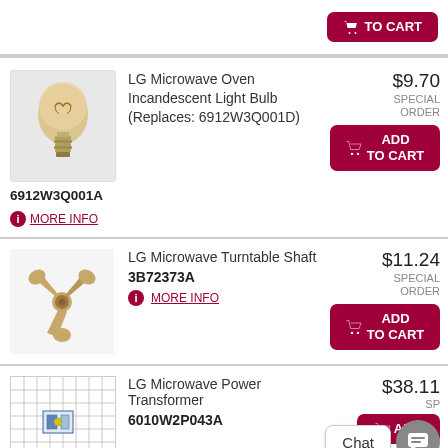[Figure (other): Partial top of page showing ADD TO CART button for a previous product]
[Figure (photo): LG Microwave Oven Incandescent Light Bulb product photo]
LG Microwave Oven Incandescent Light Bulb (Replaces: 6912W3Q001D)
6912W3Q001A
MORE INFO
$9.70
SPECIAL ORDER
ADD TO CART
[Figure (photo): LG Microwave Turntable Shaft product photo - tan/beige three-pronged part]
LG Microwave Turntable Shaft
3B72373A
MORE INFO
$11.24
SPECIAL ORDER
ADD TO CART
[Figure (photo): LG Microwave Power Transformer product photo on grid background]
LG Microwave Power Transformer
6010W2P043A
$38.11
ADD